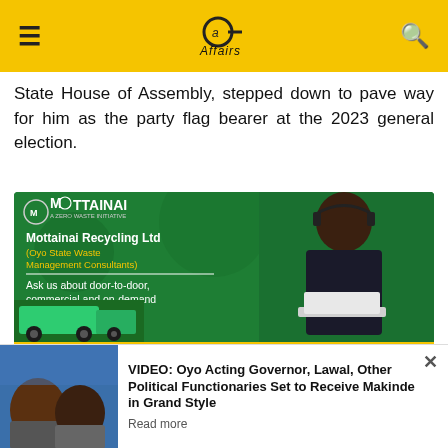Affairs
State House of Assembly, stepped down to pave way for him as the party flag bearer at the 2023 general election.
[Figure (photo): Advertisement banner for Mottainai Recycling Ltd (Oyo State Waste Management Consultants) on green background, featuring a smiling woman with headset at a laptop and a recycling truck. Text: 'Ask us about door-to-door, commercial and on-demand pickup in Oyo State.' with a red CLICK HERE button and 'to send us a message'.]
Reacting to his victory, he said: “I will make the people proud, I will make my constituency proud
VIDEO: Oyo Acting Governor, Lawal, Other Political Functionaries Set to Receive Makinde in Grand Style
Read more